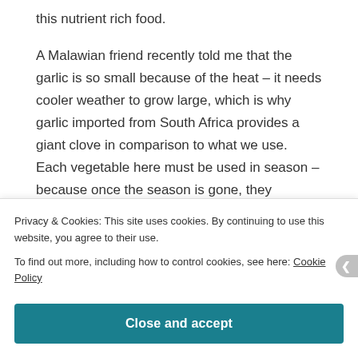this nutrient rich food.
A Malawian friend recently told me that the garlic is so small because of the heat – it needs cooler weather to grow large, which is why garlic imported from South Africa provides a giant clove in comparison to what we use. Each vegetable here must be used in season – because once the season is gone, they disappear from palate's nation wide.
And so I begin to learn the rhythm of nature's forces
Privacy & Cookies: This site uses cookies. By continuing to use this website, you agree to their use.
To find out more, including how to control cookies, see here: Cookie Policy
Close and accept